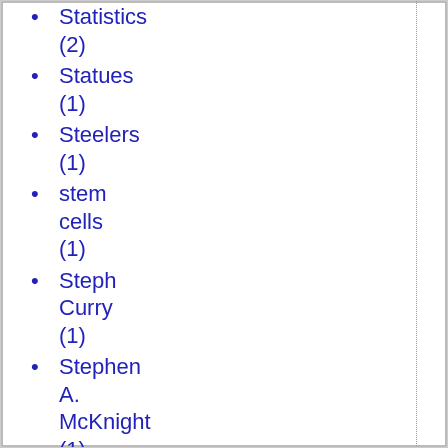Statistics (2)
Statues (1)
Steelers (1)
stem cells (1)
Steph Curry (1)
Stephen A. McKnight (1)
Stephen Coughlin (1)
sterilization (1)
Steuert (1)
Steve Talbott (5)